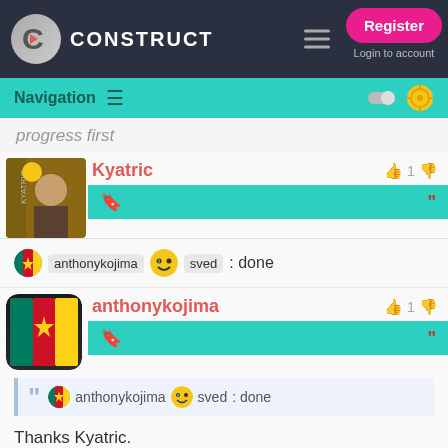Construct — Register / Login to account
Navigation
progress first
Kyatric — 👍 1 👎
anthonykojima sved : done
anthonykojima — 👍 1 👎
anthonykojima sved : done
Thanks Kyatric.
ffman22 — 👍 1 👎